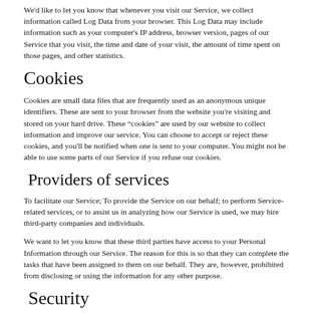We'd like to let you know that whenever you visit our Service, we collect information called Log Data from your browser. This Log Data may include information such as your computer's IP address, browser version, pages of our Service that you visit, the time and date of your visit, the amount of time spent on those pages, and other statistics.
Cookies
Cookies are small data files that are frequently used as an anonymous unique identifiers. These are sent to your browser from the website you're visiting and stored on your hard drive. These "cookies" are used by our website to collect information and improve our service. You can choose to accept or reject these cookies, and you'll be notified when one is sent to your computer. You might not be able to use some parts of our Service if you refuse our cookies.
Providers of services
To facilitate our Service; To provide the Service on our behalf; to perform Service-related services, or to assist us in analyzing how our Service is used, we may hire third-party companies and individuals.
We want to let you know that these third parties have access to your Personal Information through our Service. The reason for this is so that they can complete the tasks that have been assigned to them on our behalf. They are, however, prohibited from disclosing or using the information for any other purpose.
Security
We value your trust in entrusting us with your Personal Information, so we strive to protect it using commercially acceptable means. However, keep in mind that no method of internet transmission or method of electronic storage is completely reliable and 100% secure and...